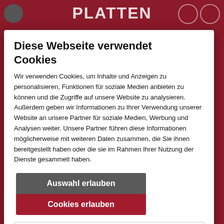PLATTEN
Bonfire / The Attic - I'll beat you, city!
Bonfire season / Gallows - Desolation sounds
Family...
R...
Bonfire / Funktión on Bobo
Bonfire / Aerosman - Just push play
Bonfire / Astra...am another dimension
Bonfire / Atr... - lux rock
Bonfire / Ato... - wave am
Bonfire / Brother Firelife - Diamond in the frost
Bonfire / ...erland
Bonfire / Doro - Forever warriors forever united
Bonfire / Europe - Bag of bones
Bonfire / Europe - Start from the dark
Diese Webseite verwendet Cookies
Wir verwenden Cookies, um Inhalte und Anzeigen zu personalisieren, Funktionen für soziale Medien anbieten zu können und die Zugriffe auf unsere Website zu analysieren. Außerdem geben wir Informationen zu Ihrer Verwendung unserer Website an unsere Partner für soziale Medien, Werbung und Analysen weiter. Unsere Partner führen diese Informationen möglicherweise mit weiteren Daten zusammen, die Sie ihnen bereitgestellt haben oder die sie im Rahmen Ihrer Nutzung der Dienste gesammelt haben.
Auswahl erlauben
Cookies erlauben
Notwendig  Präferenzen  Statistiken  Marketing  Details zeigen